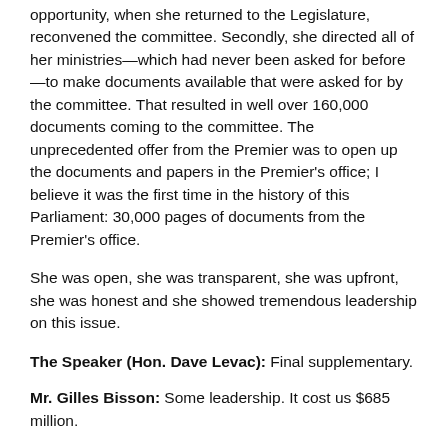opportunity, when she returned to the Legislature, reconvened the committee. Secondly, she directed all of her ministries—which had never been asked for before—to make documents available that were asked for by the committee. That resulted in well over 160,000 documents coming to the committee. The unprecedented offer from the Premier was to open up the documents and papers in the Premier's office; I believe it was the first time in the history of this Parliament: 30,000 pages of documents from the Premier's office.
She was open, she was transparent, she was upfront, she was honest and she showed tremendous leadership on this issue.
The Speaker (Hon. Dave Levac): Final supplementary.
Mr. Gilles Bisson: Some leadership. It cost us $685 million.
The point is, your member from Mississauga–Streetsville this morning at committee was trying to say that the